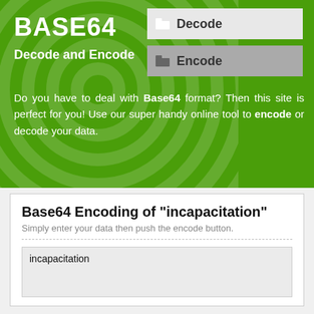BASE64
Decode and Encode
[Figure (screenshot): Decode button - light gray button with folder icon]
[Figure (screenshot): Encode button - dark gray button with folder icon]
Do you have to deal with Base64 format? Then this site is perfect for you! Use our super handy online tool to encode or decode your data.
Base64 Encoding of "incapacitation"
Simply enter your data then push the encode button.
incapacitation